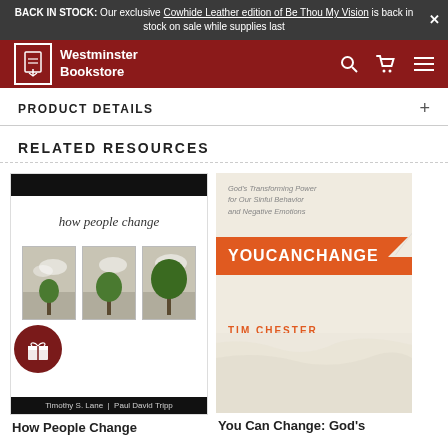BACK IN STOCK: Our exclusive Cowhide Leather edition of Be Thou My Vision is back in stock on sale while supplies last
[Figure (screenshot): Westminster Bookstore navigation bar with logo, search, cart, and menu icons]
PRODUCT DETAILS
RELATED RESOURCES
[Figure (photo): Book cover: How People Change by Timothy S. Lane and Paul David Tripp]
[Figure (photo): Book cover: You Can Change by Tim Chester - God's Transforming Power for Our Sinful Behavior and Negative Emotions]
How People Change
You Can Change: God's